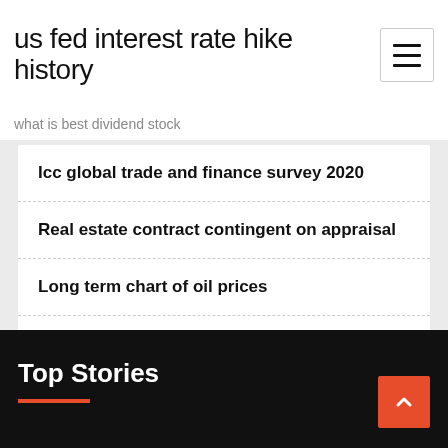us fed interest rate hike history
what is best dividend stock
Icc global trade and finance survey 2020
Real estate contract contingent on appraisal
Long term chart of oil prices
How is coconut oil useful for skin
Top Stories